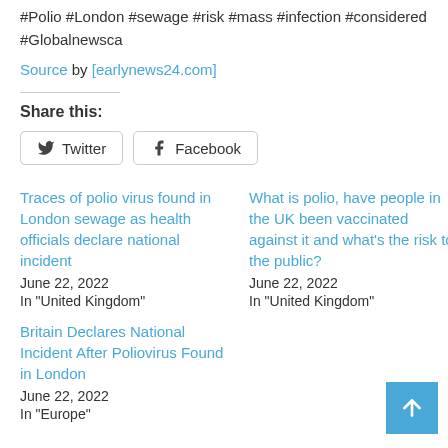#Polio #London #sewage #risk #mass #infection #considered #Globalnewsca
Source by [earlynews24.com]
Share this:
Twitter  Facebook
Traces of polio virus found in London sewage as health officials declare national incident
June 22, 2022
In "United Kingdom"
What is polio, have people in the UK been vaccinated against it and what's the risk to the public?
June 22, 2022
In "United Kingdom"
Britain Declares National Incident After Poliovirus Found in London
June 22, 2022
In "Europe"